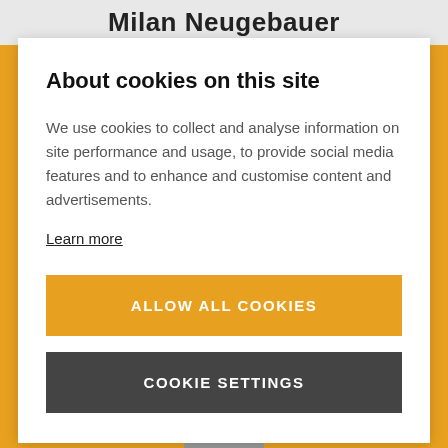Milan Neugebauer
About cookies on this site
We use cookies to collect and analyse information on site performance and usage, to provide social media features and to enhance and customise content and advertisements.
Learn more
ALLOW ALL COOKIES
COOKIE SETTINGS